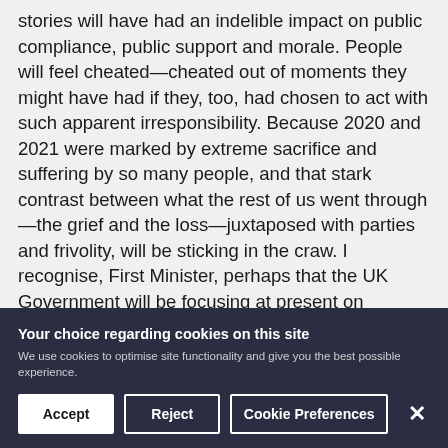stories will have had an indelible impact on public compliance, public support and morale. People will feel cheated—cheated out of moments they might have had if they, too, had chosen to act with such apparent irresponsibility. Because 2020 and 2021 were marked by extreme sacrifice and suffering by so many people, and that stark contrast between what the rest of us went through—the grief and the loss—juxtaposed with parties and frivolity, will be sticking in the craw. I recognise, First Minister, perhaps that the UK Government will be focusing at present on 'Operation Save Big Dog', on the red meat they're throwing about, and surely that will mean that
Your choice regarding cookies on this site
We use cookies to optimise site functionality and give you the best possible experience.